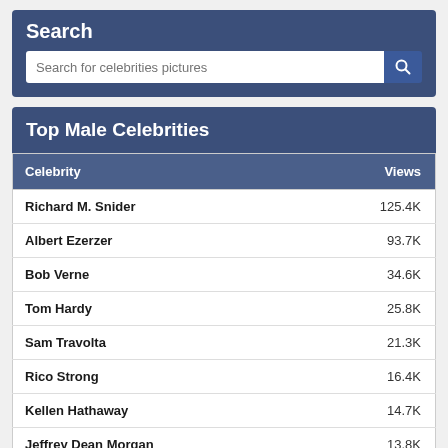Search
Search for celebrities pictures
Top Male Celebrities
| Celebrity | Views |
| --- | --- |
| Richard M. Snider | 125.4K |
| Albert Ezerzer | 93.7K |
| Bob Verne | 34.6K |
| Tom Hardy | 25.8K |
| Sam Travolta | 21.3K |
| Rico Strong | 16.4K |
| Kellen Hathaway | 14.7K |
| Jeffrey Dean Morgan | 13.8K |
| John Bolz | 12.7K |
| Jim Caviezel | 12.1K |